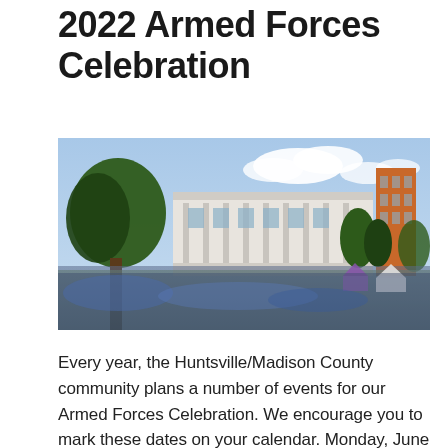2022 Armed Forces Celebration
[Figure (photo): Outdoor crowd gathered on a lawn in front of a large white government or civic building with columns and glass facade, surrounded by trees on a sunny day with clouds. A purple tent and white tents are visible to the right among the crowd.]
Every year, the Huntsville/Madison County community plans a number of events for our Armed Forces Celebration. We encourage you to mark these dates on your calendar. Monday, June 27 at 8:00 a.m. - Proclamation Signing Ceremony at Huntsville/Madison County Veterans Memorial (200 Monroe Street NW, Huntsville, AL 35801)Leaders from Huntsville, Madison, Madison